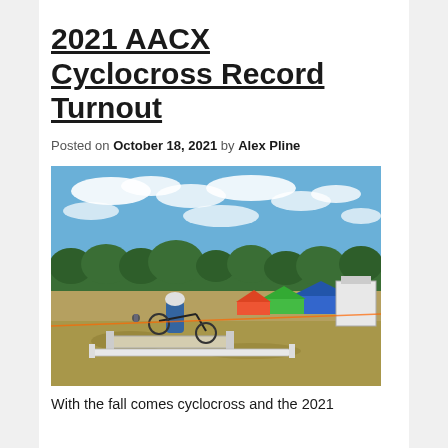2021 AACX Cyclocross Record Turnout
Posted on October 18, 2021 by Alex Pline
[Figure (photo): Outdoor cyclocross race scene. A cyclist in a blue jersey carries their bike over a barrier obstacle on a grassy field. Colorful tents (blue, green, red) and spectators are visible in the background. A bright blue sky with scattered white clouds is above a treeline.]
With the fall comes cyclocross and the 2021